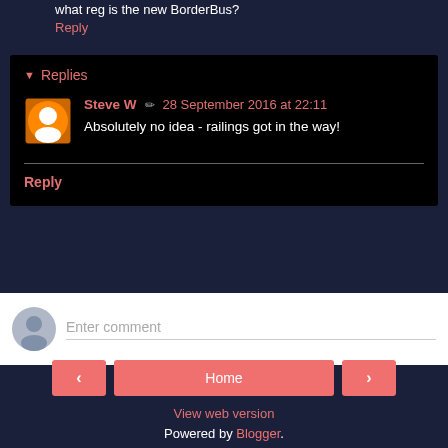what reg is the new BorderBus?
Reply
Replies
Steve W  28 September 2016 at 22:11
Absolutely no idea - railings got in the way!
Reply
Enter comment
Home
View web version
Powered by Blogger.